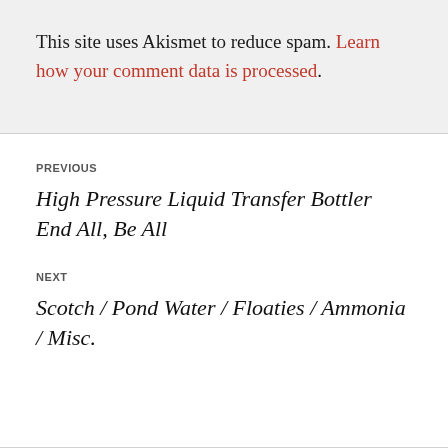This site uses Akismet to reduce spam. Learn how your comment data is processed.
PREVIOUS
High Pressure Liquid Transfer Bottler End All, Be All
NEXT
Scotch / Pond Water / Floaties / Ammonia / Misc.